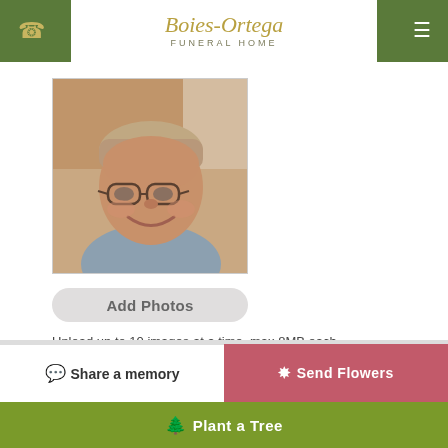Boies-Ortega Funeral Home
[Figure (photo): Portrait photo of an elderly smiling man with glasses and gray hair, wearing a light blue shirt]
Add Photos
Upload up to 10 images at a time, max 8MB each
Share a memory
Send Flowers
Plant a Tree